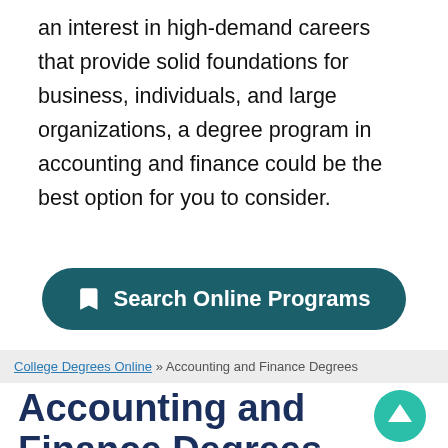an interest in high-demand careers that provide solid foundations for business, individuals, and large organizations, a degree program in accounting and finance could be the best option for you to consider.
[Figure (other): Button with bookmark icon labeled 'Search Online Programs' on a dark teal rounded rectangle background]
College Degrees Online » Accounting and Finance Degrees
Accounting and Finance Degrees